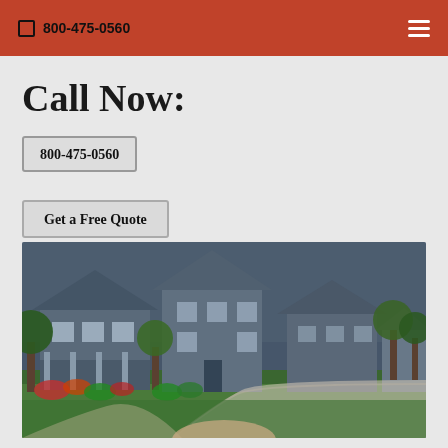800-475-0560
Call Now:
800-475-0560
Get a Free Quote
[Figure (photo): Photo of a suburban neighborhood with large homes, green lawns, and a curving sidewalk. Slightly dark overlay. At the bottom edge a person's head begins to appear.]